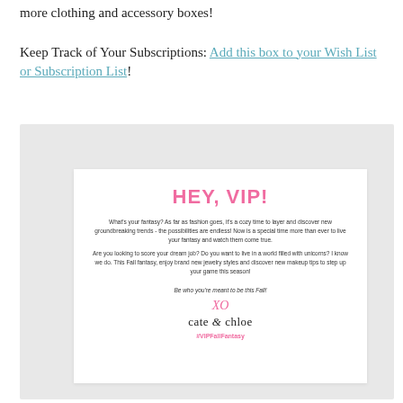more clothing and accessory boxes! Keep Track of Your Subscriptions: Add this box to your Wish List or Subscription List!
[Figure (photo): Photo of a white greeting card from Cate & Chloe on a light gray background. The card reads: HEY, VIP! (in pink bold text), followed by body text about Fall Fantasy jewelry and makeup, signed XO cate & chloe, with hashtag #VIPFallFantasy in pink.]